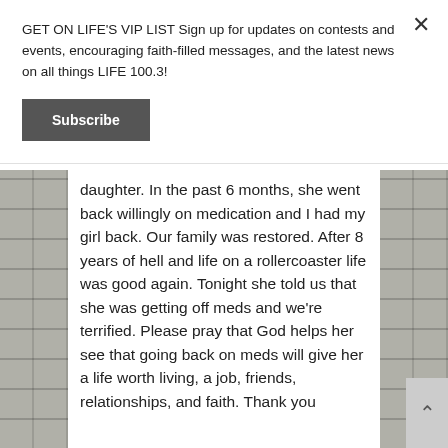GET ON LIFE'S VIP LIST Sign up for updates on contests and events, encouraging faith-filled messages, and the latest news on all things LIFE 100.3!
Subscribe
daughter. In the past 6 months, she went back willingly on medication and I had my girl back. Our family was restored. After 8 years of hell and life on a rollercoaster life was good again. Tonight she told us that she was getting off meds and we're terrified. Please pray that God helps her see that going back on meds will give her a life worth living, a job, friends, relationships, and faith. Thank you